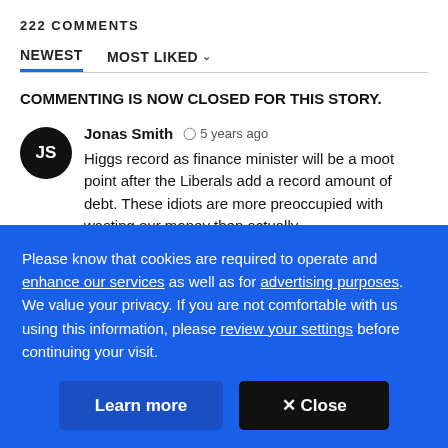222 COMMENTS
NEWEST   MOST LIKED
COMMENTING IS NOW CLOSED FOR THIS STORY.
Jonas Smith  5 years ago
Higgs record as finance minister will be a moot point after the Liberals add a record amount of debt. These idiots are more preoccupied with wasting our money then actually
Please know that cookies are required to operate and enhance our services as well as for advertising purposes. We value your privacy. If you are not comfortable with us using this information, please review your settings before continuing your visit.